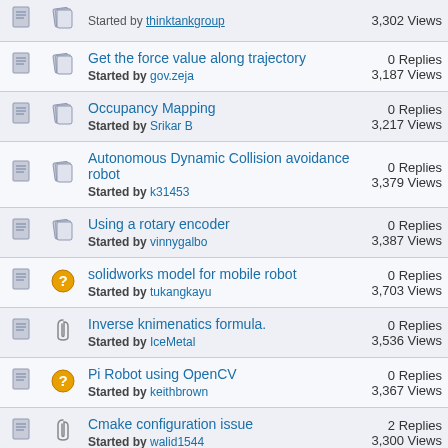Get the force value along trajectory | Started by gov.zeja | 0 Replies | 3,187 Views
Occupancy Mapping | Started by Srikar B | 0 Replies | 3,217 Views
Autonomous Dynamic Collision avoidance robot | Started by k31453 | 0 Replies | 3,379 Views
Using a rotary encoder | Started by vinnygalbo | 0 Replies | 3,387 Views
solidworks model for mobile robot | Started by tukangkayu | 0 Replies | 3,703 Views
Inverse knimenatics formula. | Started by IceMetal | 0 Replies | 3,536 Views
Pi Robot using OpenCV | Started by keithbrown | 0 Replies | 3,367 Views
Cmake configuration issue | Started by walid1544 | 2 Replies | 3,300 Views
Programming Mobile Robots | 1 Replies